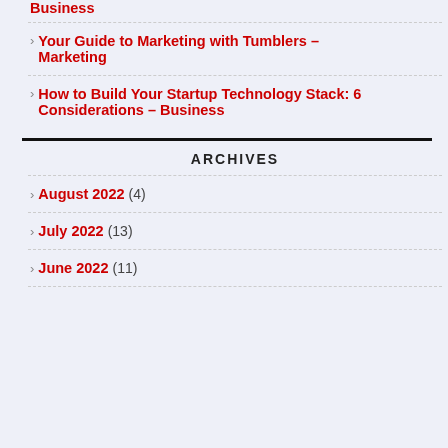Your Guide to Marketing with Tumblers – Marketing
How to Build Your Startup Technology Stack: 6 Considerations – Business
ARCHIVES
August 2022 (4)
July 2022 (13)
June 2022 (11)